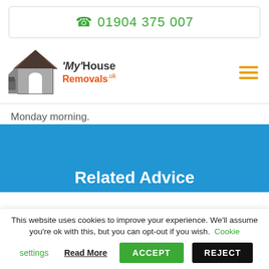📞 01904 375 007
[Figure (logo): My House Removals.uk logo with house icon]
Monday morning.
Related Advice
This website uses cookies to improve your experience. We'll assume you're ok with this, but you can opt-out if you wish. Cookie settings  Read More  ACCEPT  REJECT